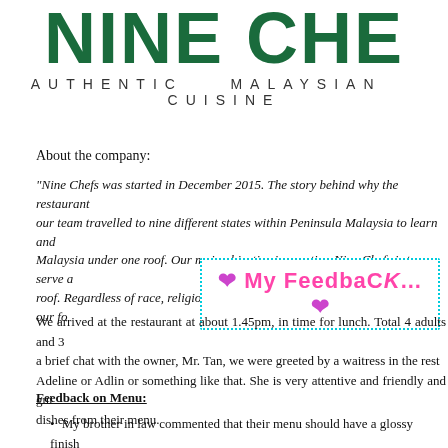NINE CHE
AUTHENTIC   MALAYSIAN   CUISINE
About the company:
"Nine Chefs was started in December 2015. The story behind why the restaurant ... our team travelled to nine different states within Peninsula Malaysia to learn and... Malaysia under one roof. Our main objective in creating Nine Chefs is to serve a... roof. Regardless of race, religion or color, if you are a Malaysian, you know our fo...
[Figure (other): Feedback button with pink hearts and dotted border reading 'My Feedback...']
We arrived at the restaurant at about 1.45pm, in time for lunch. Total 4 adults and 3... a brief chat with the owner, Mr. Tan, we were greeted by a waitress in the rest... Adeline or Adlin or something like that. She is very attentive and friendly and gui... dishes from their menu.
Feedback on Menu:
My brother in law commented that their menu should have a glossy finish... not do the images of the dishes any justice. I personally did not notice an... that hahaha...